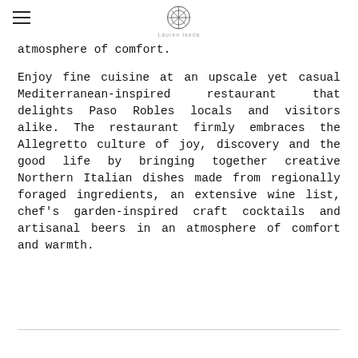Lauren Ikeda
atmosphere of comfort.
Enjoy fine cuisine at an upscale yet casual Mediterranean-inspired restaurant that delights Paso Robles locals and visitors alike. The restaurant firmly embraces the Allegretto culture of joy, discovery and the good life by bringing together creative Northern Italian dishes made from regionally foraged ingredients, an extensive wine list, chef's garden-inspired craft cocktails and artisanal beers in an atmosphere of comfort and warmth.